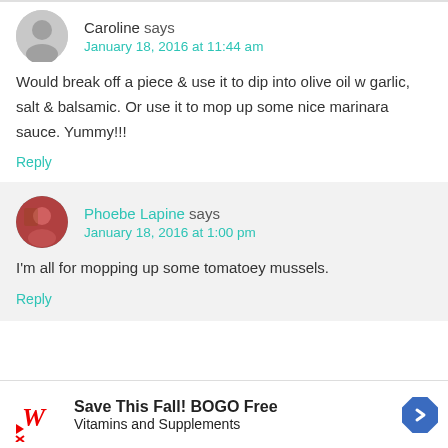Caroline says
January 18, 2016 at 11:44 am
Would break off a piece & use it to dip into olive oil w garlic, salt & balsamic. Or use it to mop up some nice marinara sauce. Yummy!!!
Reply
Phoebe Lapine says
January 18, 2016 at 1:00 pm
I'm all for mopping up some tomatoey mussels.
Reply
[Figure (infographic): Advertisement banner: Walgreens logo with script W, text 'Save This Fall! BOGO Free Vitamins and Supplements', blue diamond navigation icon]